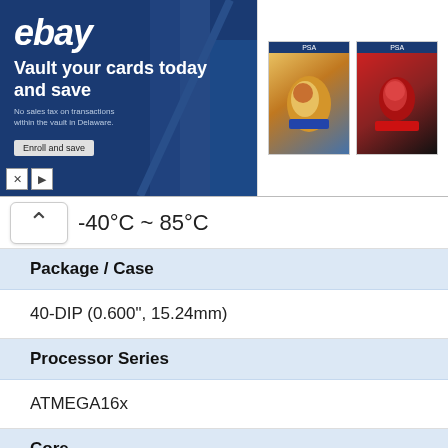[Figure (screenshot): eBay advertisement banner with logo, 'Vault your cards today and save' text, and two trading card images]
-40°C ~ 85°C
| Property | Value |
| --- | --- |
| Package / Case | 40-DIP (0.600", 15.24mm) |
| Processor Series | ATMEGA16x |
| Core | AVR8 |
| Data Bus Width | 8 bit |
| Data Ram Size | 1 KB |
| Interface Type | 2-Wire/SPI/USART |